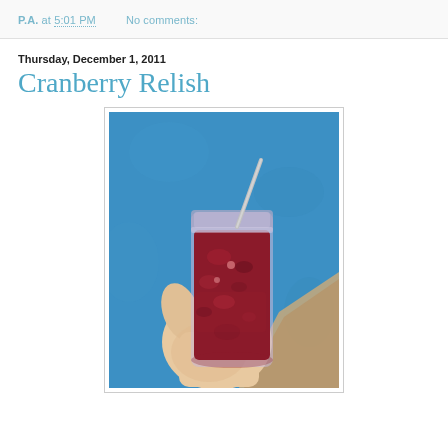P.A. at 5:01 PM    No comments:
Thursday, December 1, 2011
Cranberry Relish
[Figure (photo): A hand holding a mason jar filled with cranberry relish (dark red/maroon chunky liquid) with a metal straw, against a bright blue wall background.]